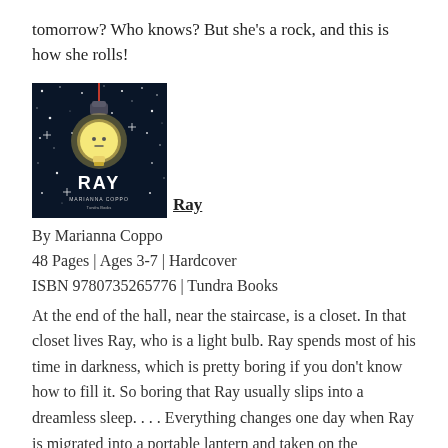tomorrow? Who knows? But she's a rock, and this is how she rolls!
[Figure (illustration): Book cover of 'Ray' by Marianna Coppo showing a light bulb character with a face hanging from a cord against a dark starry background, with the title RAY in bold white text and author name Marianna Coppo below it. Published by Tundra Books.]
Ray
By Marianna Coppo
48 Pages | Ages 3-7 | Hardcover
ISBN 9780735265776 | Tundra Books
At the end of the hall, near the staircase, is a closet. In that closet lives Ray, who is a light bulb. Ray spends most of his time in darkness, which is pretty boring if you don't know how to fill it. So boring that Ray usually slips into a dreamless sleep. . . . Everything changes one day when Ray is migrated into a portable lantern and taken on the